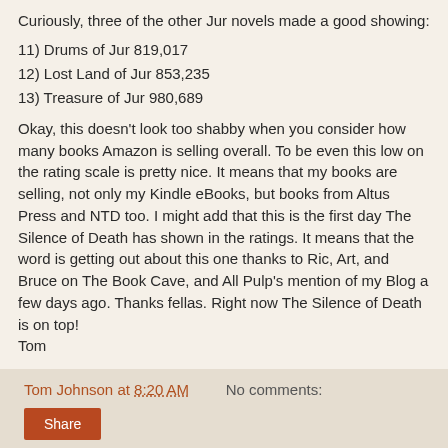Curiously, three of the other Jur novels made a good showing:
11) Drums of Jur 819,017
12) Lost Land of Jur 853,235
13) Treasure of Jur 980,689
Okay, this doesn't look too shabby when you consider how many books Amazon is selling overall. To be even this low on the rating scale is pretty nice. It means that my books are selling, not only my Kindle eBooks, but books from Altus Press and NTD too. I might add that this is the first day The Silence of Death has shown in the ratings. It means that the word is getting out about this one thanks to Ric, Art, and Bruce on The Book Cave, and All Pulp's mention of my Blog a few days ago. Thanks fellas. Right now The Silence of Death is on top!
Tom
Tom Johnson at 8:20 AM   No comments:
Share
‹   Home   ›
View web version